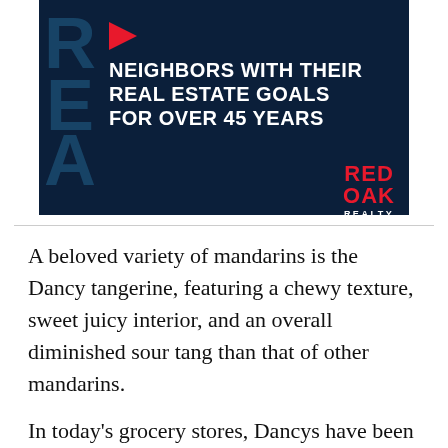[Figure (logo): Red Oak Realty advertisement banner on dark navy background. Left side shows large stylized letters in dark teal. Right side has a red right-pointing arrow followed by white bold uppercase text: 'NEIGHBORS WITH THEIR REAL ESTATE GOALS FOR OVER 45 YEARS'. Bottom right shows 'RED OAK REALTY' logo in red and white.]
A beloved variety of mandarins is the Dancy tangerine, featuring a chewy texture, sweet juicy interior, and an overall diminished sour tang than that of other mandarins.
In today's grocery stores, Dancys have been widely replaced by Murcott tangerines due to their fragility, but can still be found at Guru Ram Das Orchards during the Ecology Center's